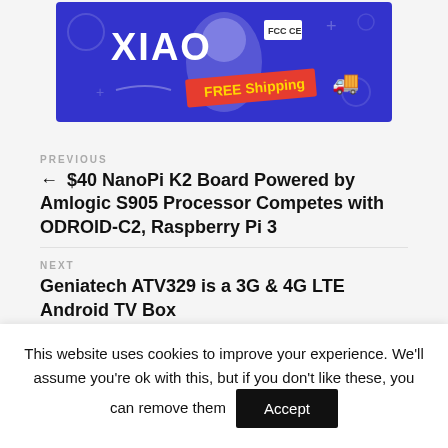[Figure (illustration): Blue promotional banner for XIAO microcontroller board with 'FREE Shipping' red label and a delivery truck icon, showing FCC and CE certification marks.]
PREVIOUS
← $40 NanoPi K2 Board Powered by Amlogic S905 Processor Competes with ODROID-C2, Raspberry Pi 3
NEXT
Geniatech ATV329 is a 3G & 4G LTE Android TV Box
This website uses cookies to improve your experience. We'll assume you're ok with this, but if you don't like these, you can remove them